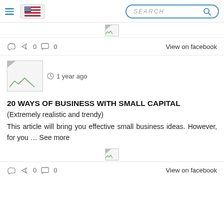SEARCH
[Figure (screenshot): Broken image placeholder small, top center]
0  0   View on facebook
1 year ago
[Figure (photo): Broken image placeholder, large thumbnail]
20 WAYS OF BUSINESS WITH SMALL CAPITAL
(Extremely realistic and trendy)
This article will bring you effective small business ideas. However, for you … See more
[Figure (screenshot): Broken image placeholder small, bottom center]
0  0   View on facebook